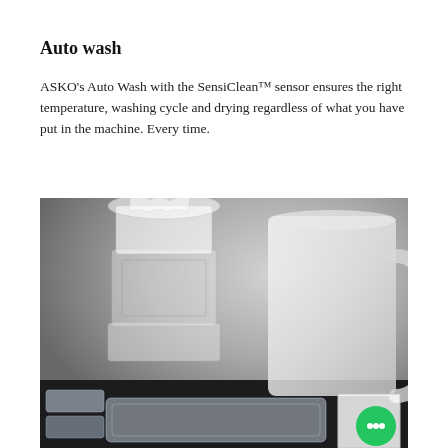Auto wash
ASKO's Auto Wash with the SensiClean™ sensor ensures the right temperature, washing cycle and drying regardless of what you have put in the machine. Every time.
[Figure (photo): Photograph of various clear and frosted plastic containers, a large frosted measuring jug/pitcher with handle, stacked food storage containers, and small transparent boxes, arranged on a dark surface against a grey gradient background.]